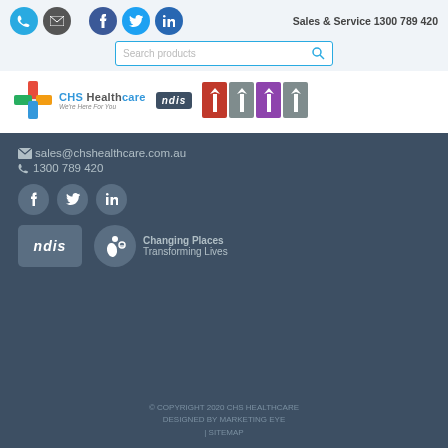Sales & Service 1300 789 420
[Figure (screenshot): CHS Healthcare website header with phone, email, social media icons, search bar, Sales & Service phone number, CHS Healthcare logo, NDIS logo, and certification badges]
sales@chshealthcare.com.au
1300 789 420
[Figure (logo): NDIS logo badge and Changing Places Transforming Lives logo in footer]
© COPYRIGHT 2020 CHS HEALTHCARE DESIGNED BY MARKETING EYE | SITEMAP